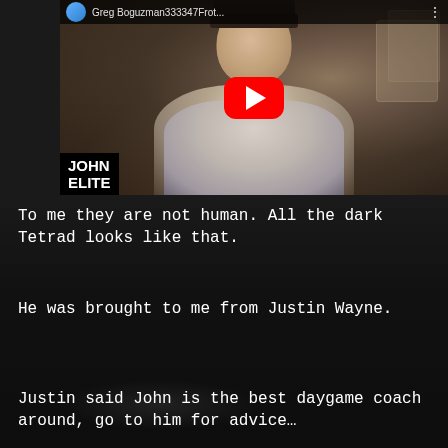[Figure (screenshot): YouTube video thumbnail showing a young man in a white t-shirt and dark beanie hat sitting in a room. A large red YouTube play button is overlaid in the center. A 'JOHN ELITE' watermark appears in bold white text on black background in the bottom-left. The channel bar at top shows a profile icon and truncated channel name.]
To me they are not human. All the dark Tetrad looks like that.
He was brought to me from Justin Wayne.
Justin said John is the best daygame coach around, go to him for advice…